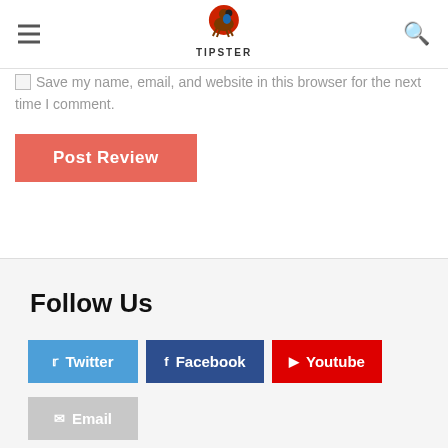TIPSTER
Save my name, email, and website in this browser for the next time I comment.
Post Review
Follow Us
Twitter
Facebook
Youtube
Email